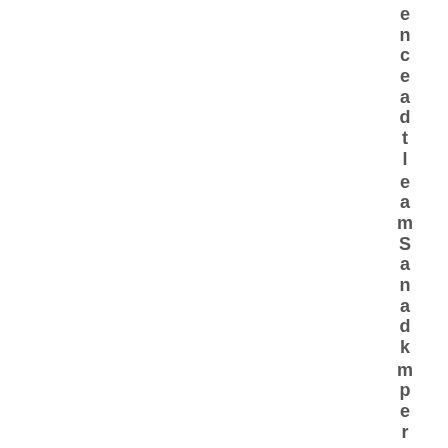enceadtl e amSandkr mpercnceanbt